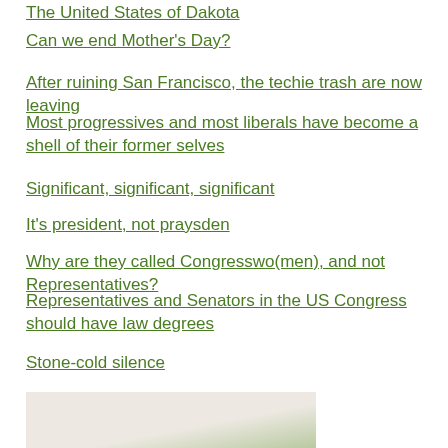The United States of Dakota
Can we end Mother's Day?
After ruining San Francisco, the techie trash are now leaving
Most progressives and most liberals have become a shell of their former selves
Significant, significant, significant
It's president, not praysden
Why are they called Congresswo(men), and not Representatives?
Representatives and Senators in the US Congress should have law degrees
Stone-cold silence
Violence never wins?
It's president, not praysden
All the COVID lies
“Don’t tell me, I don’t want to know.”
The US is not “America”
[Figure (photo): Partial view of an image at the bottom of the page, appears to show a plant or nature scene with purple and green tones]